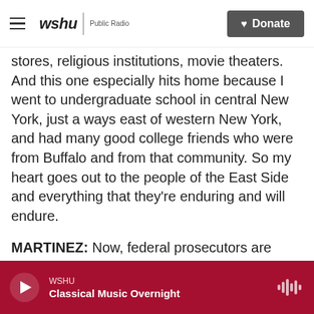wshu | Public Radio — Donate
stores, religious institutions, movie theaters. And this one especially hits home because I went to undergraduate school in central New York, just a ways east of western New York, and had many good college friends who were from Buffalo and from that community. So my heart goes out to the people of the East Side and everything that they're enduring and will endure.
MARTINEZ: Now, federal prosecutors are already classifying this violent act of racism as a hate crime. How do you think that will affect the investigation and the prosecution of this case?
WSHU — Classical Music Overnight